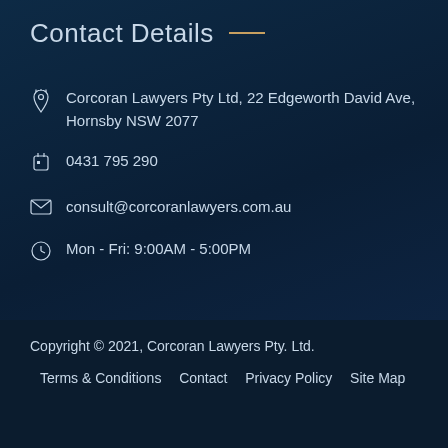Contact Details __
Corcoran Lawyers Pty Ltd, 22 Edgeworth David Ave, Hornsby NSW 2077
0431 795 290
consult@corcoranlawyers.com.au
Mon - Fri: 9:00AM - 5:00PM
Copyright © 2021, Corcoran Lawyers Pty. Ltd.
Terms & Conditions   Contact   Privacy Policy   Site Map